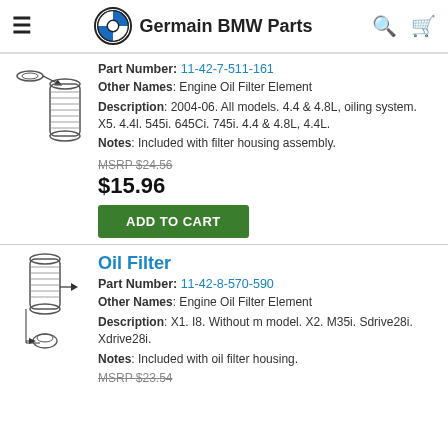Germain BMW Parts
Part Number: 11-42-7-511-161
Other Names: Engine Oil Filter Element
Description: 2004-06. All models. 4.4 & 4.8L, oiling system. X5. 4.4l. 545i. 645Ci. 745i. 4.4 & 4.8L, 4.4L.
Notes: Included with filter housing assembly.
MSRP $24.56
$15.96
ADD TO CART
Oil Filter
Part Number: 11-42-8-570-590
Other Names: Engine Oil Filter Element
Description: X1. I8. Without m model. X2. M35i. Sdrive28i. Xdrive28i.
Notes: Included with oil filter housing.
MSRP $23.54